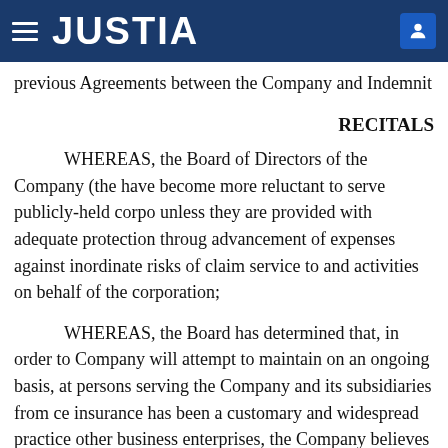JUSTIA
previous Agreements between the Company and Indemnit
RECITALS
WHEREAS, the Board of Directors of the Company (the have become more reluctant to serve publicly-held corpo unless they are provided with adequate protection throug advancement of expenses against inordinate risks of clai service to and activities on behalf of the corporation;
WHEREAS, the Board has determined that, in order to Company will attempt to maintain on an ongoing basis, at persons serving the Company and its subsidiaries from ce insurance has been a customary and widespread practice other business enterprises, the Company believes that, gi insurance may be available to it in the future only at highe same time, directors, officers, and other persons in service